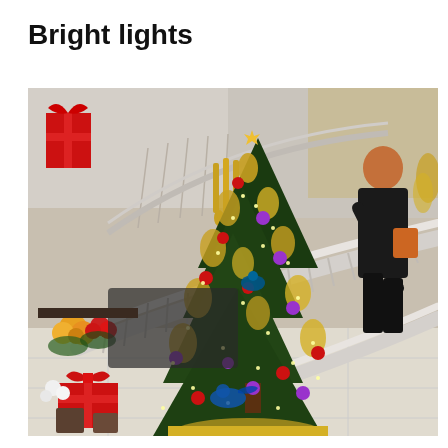Bright lights
[Figure (photo): Interior of a shopping mall or upscale store decorated for Christmas. A decorated Christmas tree with gold, red, and purple ornaments and lights stands in the foreground. A curved staircase with metallic railings is in the background, adorned with gold decorations and red bows. A woman in black clothing descends the staircase on the right. Flowers and plants are visible on the left side. The setting has marble/tiled flooring and mirrored walls.]